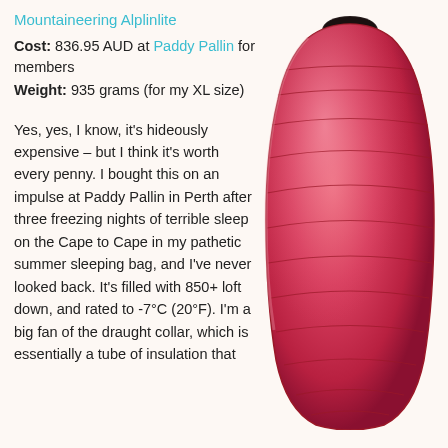Mountaineering Alplinlite
Cost: 836.95 AUD at Paddy Pallin for members
Weight: 935 grams (for my XL size)
Yes, yes, I know, it's hideously expensive – but I think it's worth every penny. I bought this on an impulse at Paddy Pallin in Perth after three freezing nights of terrible sleep on the Cape to Cape in my pathetic summer sleeping bag, and I've never looked back. It's filled with 850+ loft down, and rated to -7°C (20°F). I'm a big fan of the draught collar, which is essentially a tube of insulation that
[Figure (photo): Red mummy sleeping bag standing upright against white background, showing quilted baffles and dark opening at top]